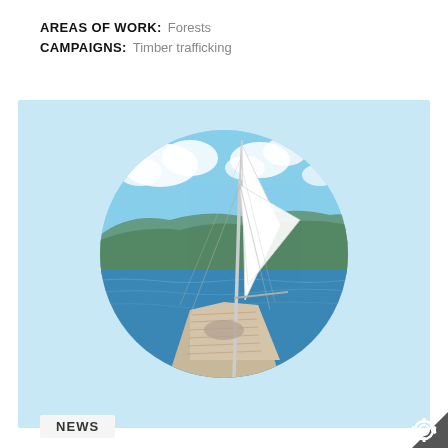AREAS OF WORK:  Forests
CAMPAIGNS:  Timber trafficking
[Figure (photo): Circular cropped photograph of a sailboat deck with mast and sails, blue sea and hilly coastline in background under partly cloudy sky, set inside a light blue rectangular panel.]
NEWS